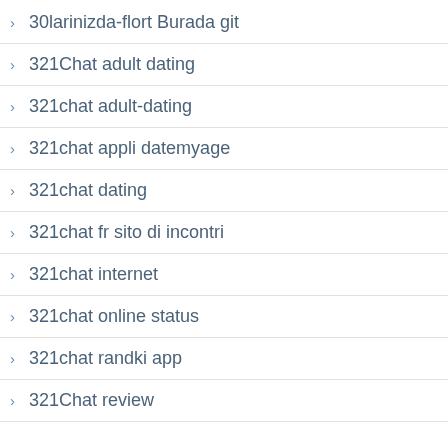30larinizda-flort Burada git
321Chat adult dating
321chat adult-dating
321chat appli datemyage
321chat dating
321chat fr sito di incontri
321chat internet
321chat online status
321chat randki app
321Chat review